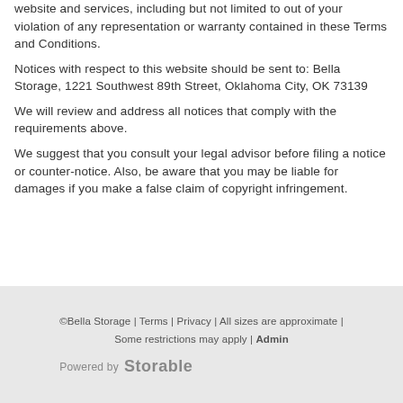website and services, including but not limited to out of your violation of any representation or warranty contained in these Terms and Conditions.
Notices with respect to this website should be sent to: Bella Storage, 1221 Southwest 89th Street, Oklahoma City, OK 73139
We will review and address all notices that comply with the requirements above.
We suggest that you consult your legal advisor before filing a notice or counter-notice. Also, be aware that you may be liable for damages if you make a false claim of copyright infringement.
©Bella Storage | Terms | Privacy | All sizes are approximate | Some restrictions may apply | Admin
Powered by Storable